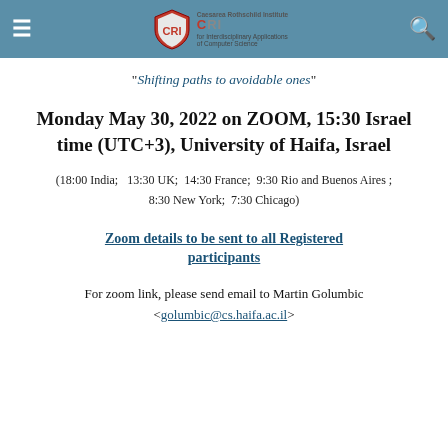CRI — Caesarea Rothschild Institute for Interdisciplinary Applications of Computer Science
"Shifting paths to avoidable ones"
Monday May 30, 2022 on ZOOM, 15:30 Israel time (UTC+3), University of Haifa, Israel
(18:00 India;   13:30 UK;  14:30 France;  9:30 Rio and Buenos Aires ;  8:30 New York;  7:30 Chicago)
Zoom details to be sent to all Registered participants
For zoom link, please send email to Martin Golumbic <golumbic@cs.haifa.ac.il>